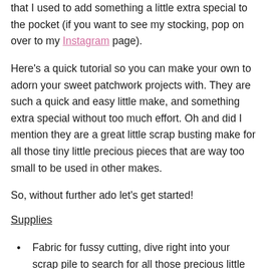that I used to add something a little extra special to the pocket (if you want to see my stocking, pop on over to my Instagram page).
Here's a quick tutorial so you can make your own to adorn your sweet patchwork projects with. They are such a quick and easy little make, and something extra special without too much effort. Oh and did I mention they are a great little scrap busting make for all those tiny little precious pieces that are way too small to be used in other makes.
So, without further ado let's get started!
Supplies
Fabric for fussy cutting, dive right into your scrap pile to search for all those precious little left-over